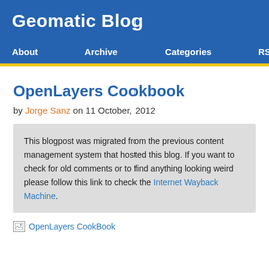Geomatic Blog
About   Archive   Categories   RSS
OpenLayers Cookbook
by Jorge Sanz on 11 October, 2012
This blogpost was migrated from the previous content management system that hosted this blog. If you want to check for old comments or to find anything looking weird please follow this link to check the Internet Wayback Machine.
[Figure (photo): Broken image placeholder for OpenLayers CookBook]